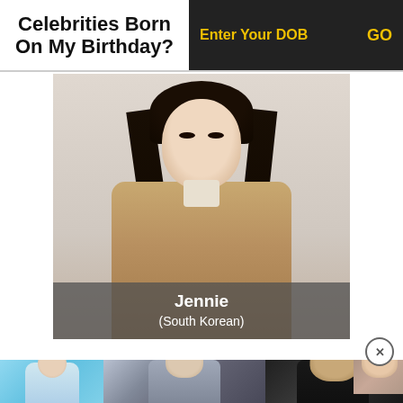Celebrities Born On My Birthday?
Enter Your DOB
GO
[Figure (photo): Photo of Jennie, a South Korean celebrity, wearing a tan trench coat with long dark hair]
Jennie (South Korean)
[Figure (photo): Thumbnail photos of three more celebrities at the bottom of the page]